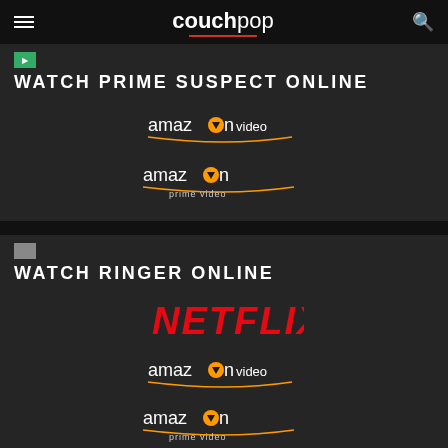couchpop
WATCH PRIME SUSPECT ONLINE
[Figure (logo): Amazon Video logo]
[Figure (logo): Amazon Prime Video logo]
WATCH RINGER ONLINE
[Figure (logo): Netflix logo]
[Figure (logo): Amazon Video logo]
[Figure (logo): Amazon Prime Video logo]
[Figure (logo): Vudu Movies & TV logo]